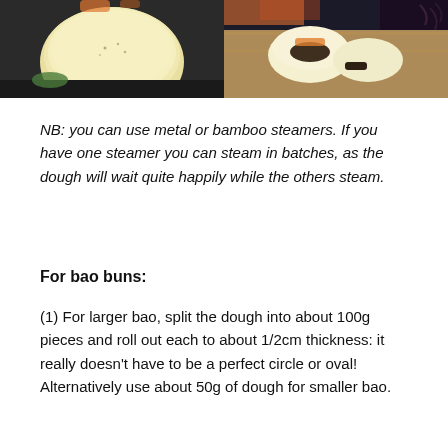[Figure (photo): Two food photos side by side: left shows a round steamed bao bun on a dark surface, right shows an open bao bun filled with vegetables and toppings on a wooden board]
NB: you can use metal or bamboo steamers. If you have one steamer you can steam in batches, as the dough will wait quite happily while the others steam.
For bao buns:
(1) For larger bao, split the dough into about 100g pieces and roll out each to about 1/2cm thickness: it really doesn’t have to be a perfect circle or oval! Alternatively use about 50g of dough for smaller bao.